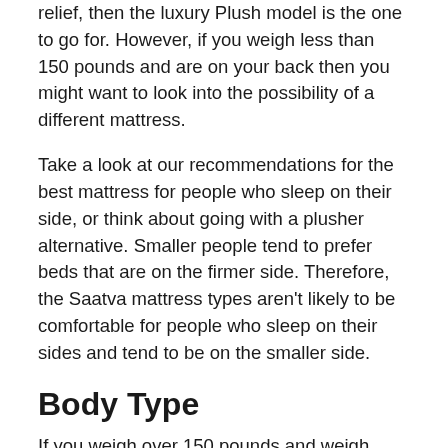relief, then the luxury Plush model is the one to go for. However, if you weigh less than 150 pounds and are on your back then you might want to look into the possibility of a different mattress.
Take a look at our recommendations for the best mattress for people who sleep on their side, or think about going with a plusher alternative. Smaller people tend to prefer beds that are on the firmer side. Therefore, the Saatva mattress types aren't likely to be comfortable for people who sleep on their sides and tend to be on the smaller side.
Body Type
If you weigh over 150 pounds and weigh